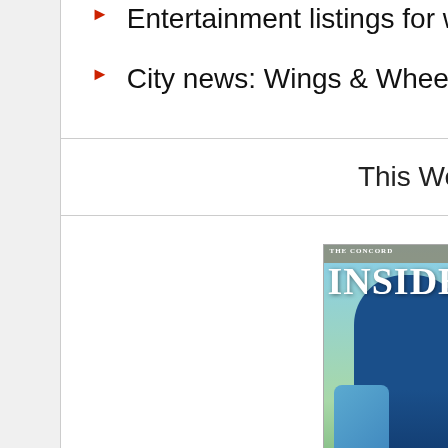Entertainment listings for week of Sept. 1, 2022
City news: Wings & Wheels show this month
This Week's Issue
[Figure (photo): Cover of The Concord Insider magazine showing children with backpacks. Text reads BACK TO on cover bottom.]